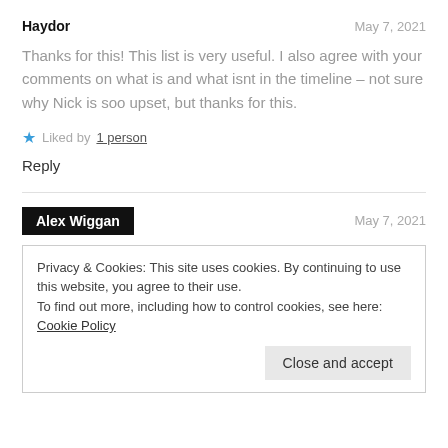Haydor
May 7, 2021
Thanks for this! This list is very useful. I also agree with your comments on what is and what isnt in the timeline – not sure why Nick is soo upset, but thanks for this.
★ Liked by 1 person
Reply
Alex Wiggan
May 7, 2021
Privacy & Cookies: This site uses cookies. By continuing to use this website, you agree to their use.
To find out more, including how to control cookies, see here: Cookie Policy
Close and accept